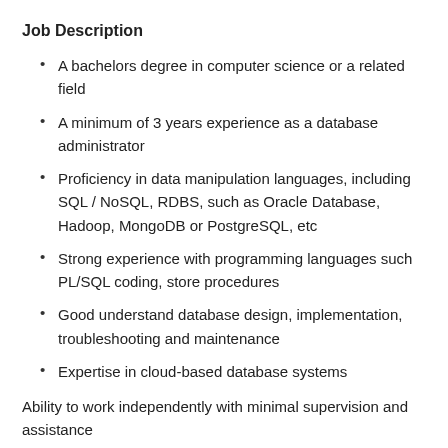Job Description
A bachelors degree in computer science or a related field
A minimum of 3 years experience as a database administrator
Proficiency in data manipulation languages, including SQL / NoSQL, RDBS, such as Oracle Database, Hadoop, MongoDB or PostgreSQL, etc
Strong experience with programming languages such PL/SQL coding, store procedures
Good understand database design, implementation, troubleshooting and maintenance
Expertise in cloud-based database systems
Ability to work independently with minimal supervision and assistance